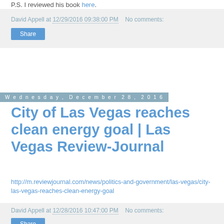P.S. I reviewed his book here.
David Appell at 12/29/2016 09:38:00 PM   No comments:
Share
Wednesday, December 28, 2016
City of Las Vegas reaches clean energy goal | Las Vegas Review-Journal
http://m.reviewjournal.com/news/politics-and-government/las-vegas/city-las-vegas-reaches-clean-energy-goal
David Appell at 12/28/2016 10:47:00 PM   No comments:
Share